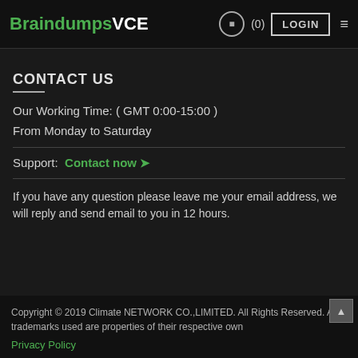BraindumpsVCE (0) LOGIN
CONTACT US
Our Working Time: ( GMT 0:00-15:00 )
From Monday to Saturday
Support: Contact now →
If you have any question please leave me your email address, we will reply and send email to you in 12 hours.
Copyright © 2019 Climate NETWORK CO.,LIMITED. All Rights Reserved. All trademarks used are properties of their respective owners. Privacy Policy